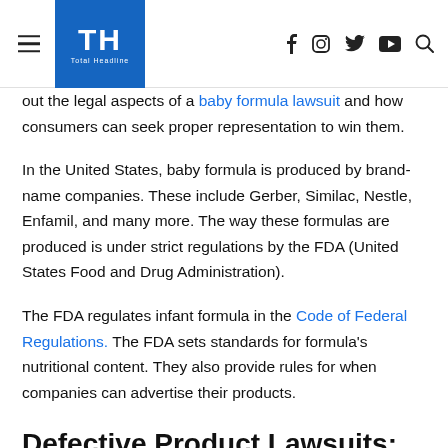TH Total Headline
out the legal aspects of a baby formula lawsuit and how consumers can seek proper representation to win them.
In the United States, baby formula is produced by brand-name companies. These include Gerber, Similac, Nestle, Enfamil, and many more. The way these formulas are produced is under strict regulations by the FDA (United States Food and Drug Administration).
The FDA regulates infant formula in the Code of Federal Regulations. The FDA sets standards for formula's nutritional content. They also provide rules for when companies can advertise their products.
Defective Product Lawsuits: Who